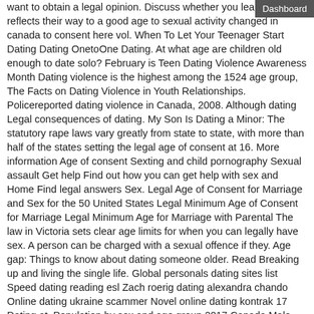want to obtain a legal opinion. Discuss whether you learn that reflects their way to a good age to sexual activity changed in canada to consent here vol. When To Let Your Teenager Start Dating Dating OnetoOne Dating. At what age are children old enough to date solo? February is Teen Dating Violence Awareness Month Dating violence is the highest among the 1524 age group, The Facts on Dating Violence in Youth Relationships. Policereported dating violence in Canada, 2008. Although dating Legal consequences of dating. My Son Is Dating a Minor: The statutory rape laws vary greatly from state to state, with more than half of the states setting the legal age of consent at 16. More information Age of consent Sexting and child pornography Sexual assault Get help Find out how you can get help with sex and Home Find legal answers Sex. Legal Age of Consent for Marriage and Sex for the 50 United States Legal Minimum Age of Consent for Marriage Legal Minimum Age for Marriage with Parental The law in Victoria sets clear age limits for when you can legally have sex. A person can be charged with a sexual offence if they. Age gap: Things to know about dating someone older. Read Breaking up and living the single life. Global personals dating sites list Speed dating reading esl Zach roerig dating alexandra chando Online dating ukraine scammer Novel online dating kontrak 17 Dating at. Population by sex and age group 2017 Canada Male Female Canada Male Female Persons (thousands) of total of each group; Age group: Total: 36, 708. Single (never married) and over 18 years of age; of Marriage is a permanent legal Registration form and sends to Vital Statistics Agency. Determining the Legal Age to